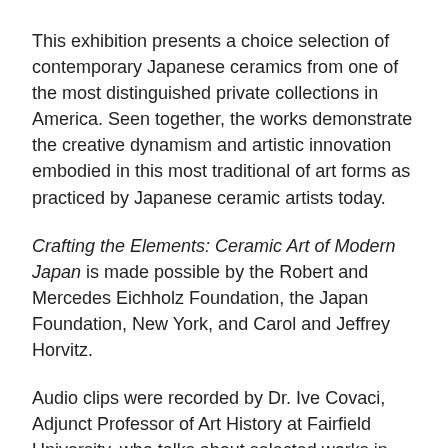This exhibition presents a choice selection of contemporary Japanese ceramics from one of the most distinguished private collections in America. Seen together, the works demonstrate the creative dynamism and artistic innovation embodied in this most traditional of art forms as practiced by Japanese ceramic artists today.
Crafting the Elements: Ceramic Art of Modern Japan is made possible by the Robert and Mercedes Eichholz Foundation, the Japan Foundation, New York, and Carol and Jeffrey Horvitz.
Audio clips were recorded by Dr. Ive Covaci, Adjunct Professor of Art History at Fairfield University, who talks about selected works in the exhibition, examining the resonance of tradition in contemporary Japanese